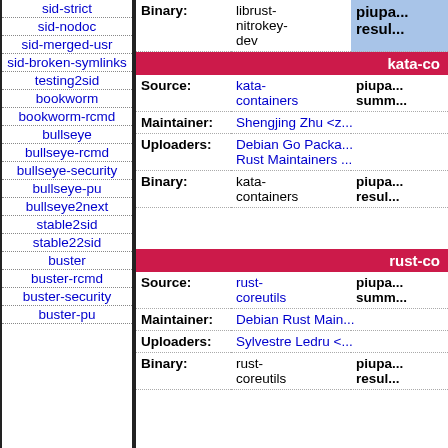sid-strict
sid-nodoc
sid-merged-usr
sid-broken-symlinks
testing2sid
bookworm
bookworm-rcmd
bullseye
bullseye-rcmd
bullseye-security
bullseye-pu
bullseye2next
stable2sid
stable22sid
buster
buster-rcmd
buster-security
buster-pu
| Field | Value | Extra |
| --- | --- | --- |
| Binary: | librust-nitrokey-dev | piupa... resul... |
| Source: | kata-containers | piupa... summ... |
| Maintainer: | Shengjing Zhu <z... |  |
| Uploaders: | Debian Go Packa... Rust Maintainers ... |  |
| Binary: | kata-containers | piupa... resul... |
| Source: | rust-coreutils | piupa... summ... |
| Maintainer: | Debian Rust Main... |  |
| Uploaders: | Sylvestre Ledru <... |  |
| Binary: | rust-coreutils | piupa... resul... |